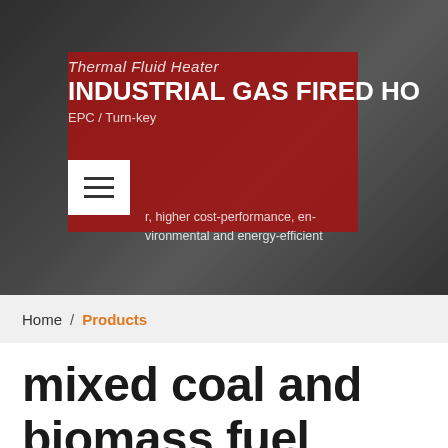[Figure (screenshot): Industrial boiler company website hero banner with dark background showing industrial equipment, a red accent box overlay, hamburger menu icon, and white text reading 'Thermal Fluid Heater', 'INDUSTRIAL GAS FIRED HO...', 'EPC / Turn-key', and subtitle text about higher cost-performance, environmental and energy-efficient]
Home / Products
mixed coal and biomass fuel boiler supplier in indonesia